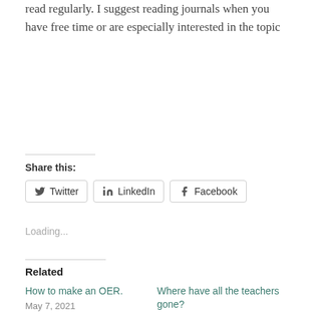read regularly. I suggest reading journals when you have free time or are especially interested in the topic
Share this:
Twitter  LinkedIn  Facebook
Loading...
Related
How to make an OER.
May 7, 2021
In "education"
Where have all the teachers gone?
May 18, 2022
In "education"